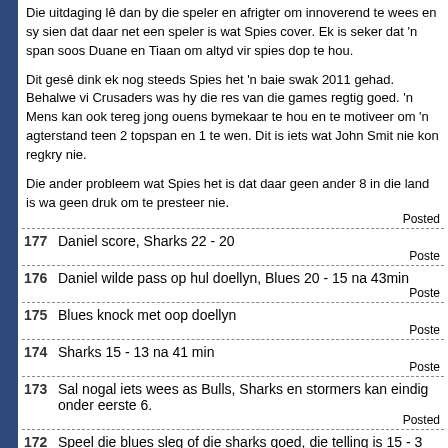Die uitdaging lê dan by die speler en afrigter om innoverend te wees en sy sien dat daar net een speler is wat Spies cover. Ek is seker dat 'n span soos Duane en Tiaan om altyd vir spies dop te hou.
Dit gesê dink ek nog steeds Spies het 'n baie swak 2011 gehad. Behalwe vi Crusaders was hy die res van die games regtig goed. 'n Mens kan ook tereg jong ouens bymekaar te hou en te motiveer om 'n agterstand teen 2 topspan en 1 te wen. Dit is iets wat John Smit nie kon regkry nie.
Die ander probleem wat Spies het is dat daar geen ander 8 in die land is wa geen druk om te presteer nie.
Posted
177  Daniel score, Sharks 22 - 20
Posted
176  Daniel wilde pass op hul doellyn, Blues 20 - 15 na 43min
Posted
175  Blues knock met oop doellyn
Posted
174  Sharks 15 - 13 na 41 min
Posted
173  Sal nogal iets wees as Bulls, Sharks en stormers kan eindig onder eerste 6.
Posted
172  Speel die blues sleg of die sharks goed, die telling is 15 - 3 vir die sharks.
Posted
171  Jimmy, miskien moet jy maar een of ander tyd daardie country songs opsit.